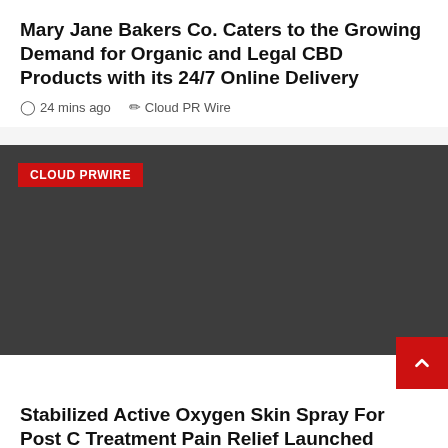Mary Jane Bakers Co. Caters to the Growing Demand for Organic and Legal CBD Products with its 24/7 Online Delivery
24 mins ago  Cloud PR Wire
[Figure (photo): Dark gray image placeholder with a red 'CLOUD PRWIRE' badge label in the top left corner]
Stabilized Active Oxygen Skin Spray For Post C Treatment Pain Relief Launched
2 hours ago  Cloud PR Wire